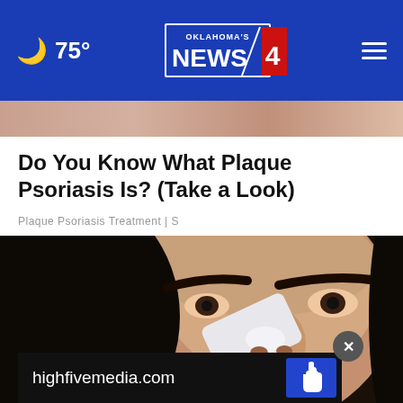75° Oklahoma's News 4
[Figure (photo): Partial photo of a person's face/skin visible as a strip behind the navigation bar]
Do You Know What Plaque Psoriasis Is? (Take a Look)
Plaque Psoriasis Treatment | S
[Figure (photo): Close-up photo of a dark-haired woman applying something to her nose with a white applicator/brush tool]
highfivemedia.com